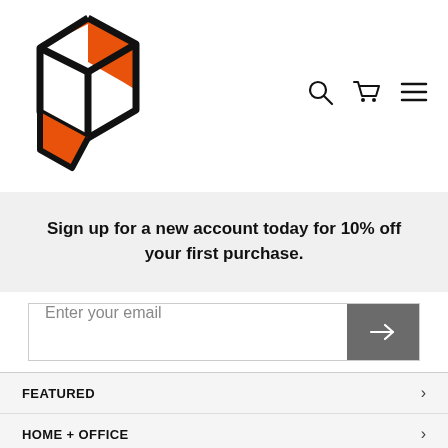[Figure (logo): Hexagonal box logo with orange accent shapes — black outline hexagon with orange filled triangular areas at top-right and bottom-left]
[Figure (infographic): Navigation icons: search (magnifying glass), cart (shopping cart), and hamburger menu (three horizontal lines)]
Sign up for a new account today for 10% off your first purchase.
Enter your email
FEATURED
HOME + OFFICE